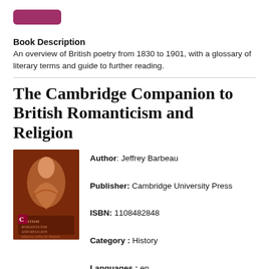[Figure (other): Pink/magenta button at top of page]
Book Description
An overview of British poetry from 1830 to 1901, with a glossary of literary terms and guide to further reading.
The Cambridge Companion to British Romanticism and Religion
[Figure (photo): Book cover for The Cambridge Companion to British Romanticism and Religion, showing a reddish-brown artistic figure]
Author: Jeffrey Barbeau
Publisher: Cambridge University Press
ISBN: 1108482848
Category: History
Languages: en
Pages: 325
[Figure (other): Magenta 'View' button with arrow icon]
Book Description